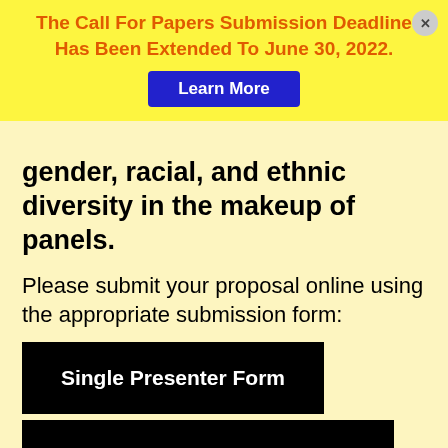The Call For Papers Submission Deadline Has Been Extended To June 30, 2022.
Learn More
gender, racial, and ethnic diversity in the makeup of panels.
Please submit your proposal online using the appropriate submission form:
Single Presenter Form
Form for Panel Proposals